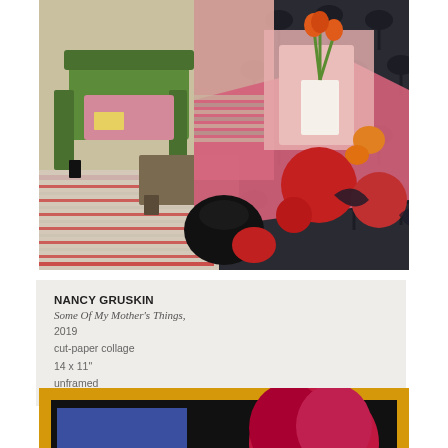[Figure (illustration): Cut-paper collage artwork showing an interior scene with a green armchair, pink walls, a dark background with leaf pattern, a purple/pink table or surface with abstract red circular shapes, and a vase of orange flowers on a pink/white surface.]
NANCY GRUSKIN
Some Of My Mother's Things,
2019
cut-paper collage
14 x 11"
unframed
[Figure (illustration): Partial view of another cut-paper collage artwork showing a figure with a bright red/magenta head of hair, a blue rectangle, black background, and a yellow/orange border frame.]